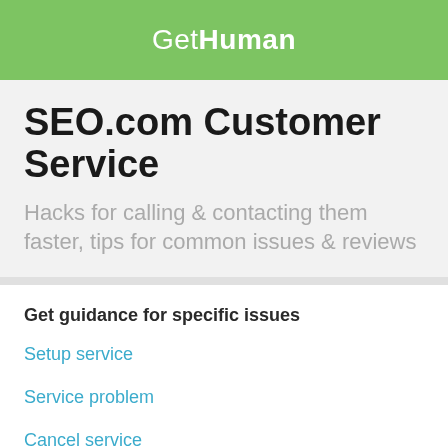GetHuman
SEO.com Customer Service
Hacks for calling & contacting them faster, tips for common issues & reviews
Get guidance for specific issues
Setup service
Service problem
Cancel service
Change plan